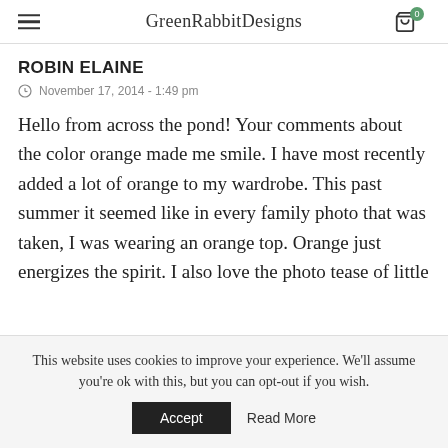GreenRabbitDesigns
ROBIN ELAINE
November 17, 2014 - 1:49 pm
Hello from across the pond! Your comments about the color orange made me smile. I have most recently added a lot of orange to my wardrobe. This past summer it seemed like in every family photo that was taken, I was wearing an orange top. Orange just energizes the spirit. I also love the photo tease of little
This website uses cookies to improve your experience. We'll assume you're ok with this, but you can opt-out if you wish.